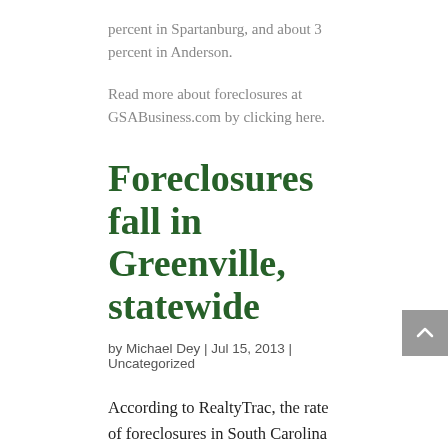percent in Spartanburg, and about 3 percent in Anderson.
Read more about foreclosures at GSABusiness.com by clicking here.
Foreclosures fall in Greenville, statewide
by Michael Dey | Jul 15, 2013 | Uncategorized
According to RealtyTrac, the rate of foreclosures in South Carolina fell 12 percent during the first six months of